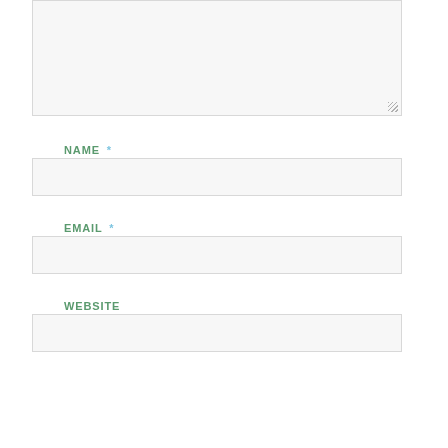[Figure (screenshot): Textarea input box with resize handle in bottom-right corner, light gray background with border]
NAME *
[Figure (screenshot): Name input field, single-line text box, light gray background with border]
EMAIL *
[Figure (screenshot): Email input field, single-line text box, light gray background with border]
WEBSITE
[Figure (screenshot): Website input field, single-line text box, light gray background with border]